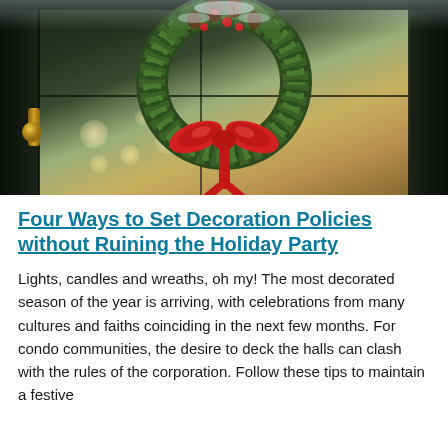[Figure (photo): A Christmas holiday wreath with pine cones, evergreen branches, red berries, and a large red satin bow, hanging on a dark door with a gold door handle. Background shows bokeh lights and a wintry window scene.]
Four Ways to Set Decoration Policies without Ruining the Holiday Party
Lights, candles and wreaths, oh my! The most decorated season of the year is arriving, with celebrations from many cultures and faiths coinciding in the next few months. For condo communities, the desire to deck the halls can clash with the rules of the corporation. Follow these tips to maintain a festive